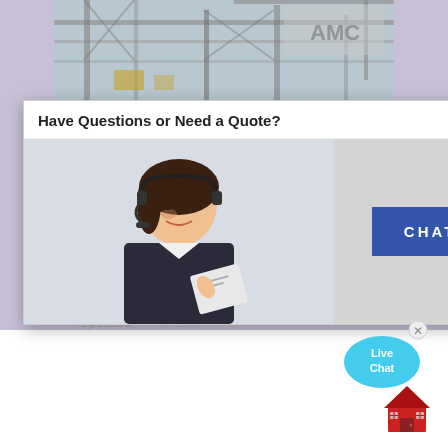[Figure (photo): Industrial crusher plant facility with heavy machinery and cranes; AMC logo visible in upper right corner]
CRUSHER PLANTS MACHINE MANUFACTURERS | STONE CRUSHER ...
Crusher Plants Machine Manufacturers & Suppliers - Buildmate ... manufacture across th... world-class reputation... crusher plant mac... expertise in manufacturing high quality products due to our philosophy of putting customer''s needs first
[Figure (screenshot): Live chat popup modal with header 'Have Questions or Need a Quote?', an X close button, a photo of a customer service representative with headset, and a dark blue CHAT NOW button]
[Figure (illustration): Live Chat speech bubble icon in cyan/blue color with 'Live Chat' text]
[Figure (illustration): Red house/home icon in bottom right corner]